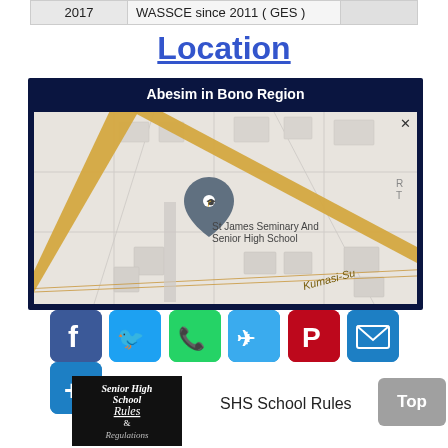| 2017 | WASSCE since 2011 ( GES ) |  |
Location
[Figure (map): Map showing Abesim in Bono Region with St James Seminary And Senior High School marker on Kumasi-Su road]
[Figure (infographic): Social sharing buttons: Facebook, Twitter, WhatsApp, Telegram, Pinterest, Email, Share]
[Figure (photo): Thumbnail image with text: Senior High School Rules & Regulations on dark background]
SHS School Rules